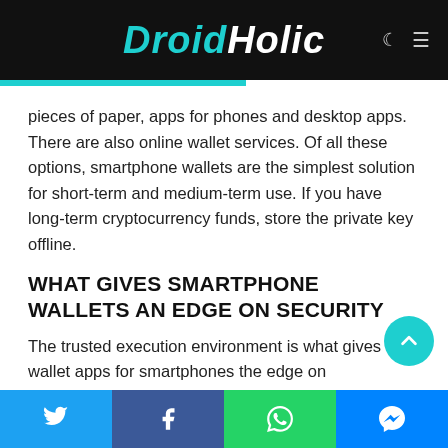DroidHolic
pieces of paper, apps for phones and desktop apps. There are also online wallet services. Of all these options, smartphone wallets are the simplest solution for short-term and medium-term use. If you have long-term cryptocurrency funds, store the private key offline.
WHAT GIVES SMARTPHONE WALLETS AN EDGE ON SECURITY
The trusted execution environment is what gives wallet apps for smartphones the edge on cybersecurity for your digital coins. This is a separate